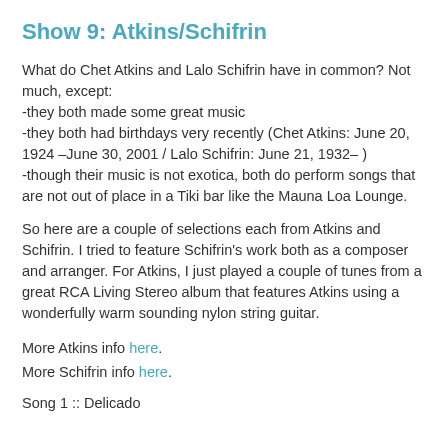Show 9: Atkins/Schifrin
What do Chet Atkins and Lalo Schifrin have in common? Not much, except:
-they both made some great music
-they both had birthdays very recently (Chet Atkins: June 20, 1924 –June 30, 2001 / Lalo Schifrin: June 21, 1932– )
-though their music is not exotica, both do perform songs that are not out of place in a Tiki bar like the Mauna Loa Lounge.
So here are a couple of selections each from Atkins and Schifrin. I tried to feature Schifrin's work both as a composer and arranger. For Atkins, I just played a couple of tunes from a great RCA Living Stereo album that features Atkins using a wonderfully warm sounding nylon string guitar.
More Atkins info here.
More Schifrin info here.
Song 1 :: Delicado